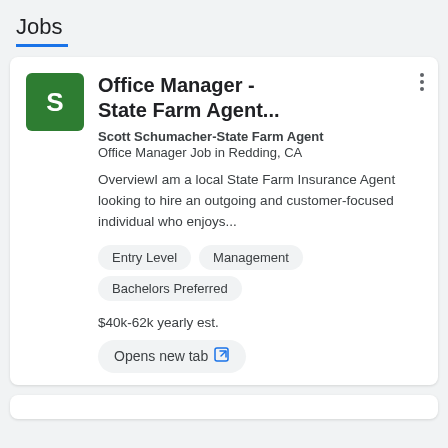Jobs
Office Manager - State Farm Agent...
Scott Schumacher-State Farm Agent
Office Manager Job in Redding, CA
OverviewI am a local State Farm Insurance Agent looking to hire an outgoing and customer-focused individual who enjoys...
Entry Level
Management
Bachelors Preferred
$40k-62k yearly est.
Opens new tab